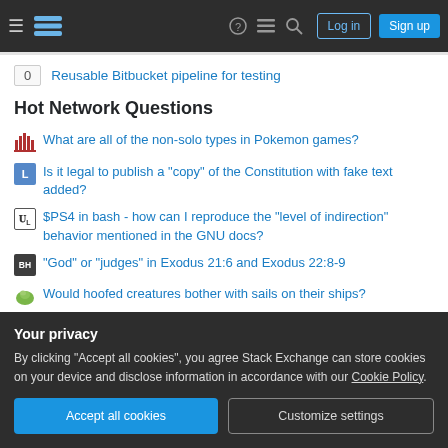Stack Exchange navigation bar with Log in and Sign up buttons
0  Reusable Bitbucket pipeline for testing
Hot Network Questions
What are all of the non-solo types in Pokemon games?
Is it legal to publish a "copy" of the Constitution with fake text added?
$PS4 in bash - how can I reproduce the "level of indirection" behavior mentioned in the GNU docs?
"God" or "judges" in Exodus 21:6 and Exodus 22:8-9
Would hoofed creatures bother with sails on their ships?
Can't find the node! Which node is available in which Blender version?
Your privacy
By clicking "Accept all cookies", you agree Stack Exchange can store cookies on your device and disclose information in accordance with our Cookie Policy.
Why is there no WORD_BIT in limits.h on Linux?